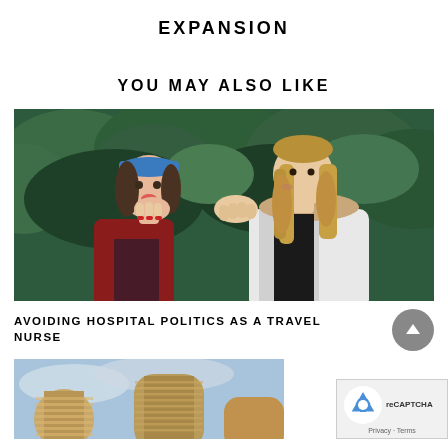EXPANSION
YOU MAY ALSO LIKE
[Figure (photo): Two young women outdoors near trees, one whispering into the other's ear while the other covers her mouth in surprise.]
AVOIDING HOSPITAL POLITICS AS A TRAVEL NURSE
[Figure (photo): Partial view of modern curved glass buildings against a blue sky with clouds.]